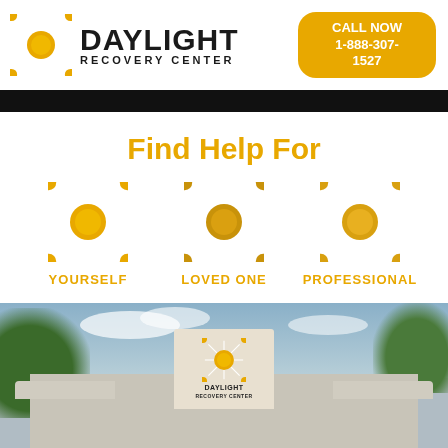[Figure (logo): Daylight Recovery Center logo with sun icon, company name, and call now button showing 1-888-307-1527]
Find Help For
[Figure (infographic): Three Daylight Recovery Center sun icons with labels: YOURSELF, LOVED ONE, PROFESSIONAL]
[Figure (photo): Exterior photo of Daylight Recovery Center building with trees and signage]